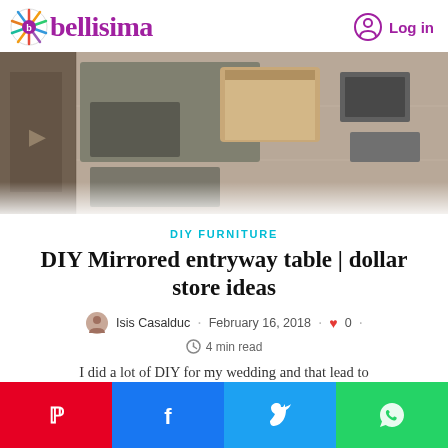bellisima — Log in
[Figure (photo): Top-down view of mirrored tiles and materials laid out on a tiled floor, with a cardboard box open, showing DIY project in progress.]
DIY FURNITURE
DIY Mirrored entryway table | dollar store ideas
Isis Casalduc · February 16, 2018 · 0 · 4 min read
I did a lot of DIY for my wedding and that lead to this DIY mirrored entryway table being built and